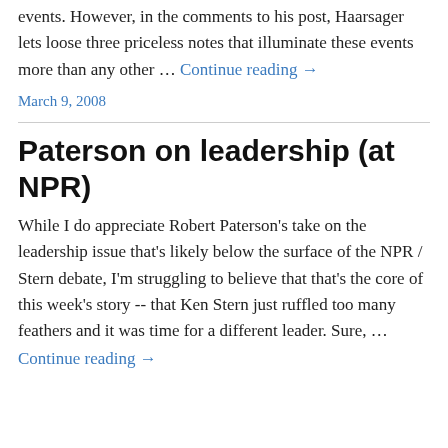events. However, in the comments to his post, Haarsager lets loose three priceless notes that illuminate these events more than any other … Continue reading →
March 9, 2008
Paterson on leadership (at NPR)
While I do appreciate Robert Paterson's take on the leadership issue that's likely below the surface of the NPR / Stern debate, I'm struggling to believe that that's the core of this week's story -- that Ken Stern just ruffled too many feathers and it was time for a different leader. Sure, … Continue reading →